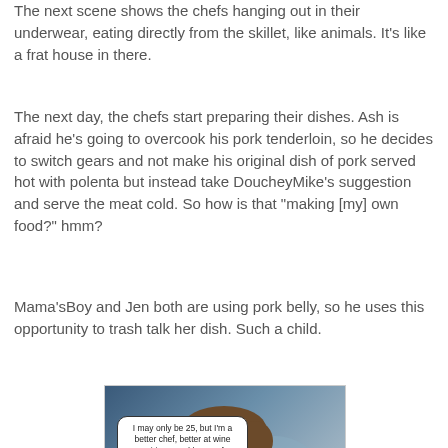The next scene shows the chefs hanging out in their underwear, eating directly from the skillet, like animals. It's like a frat house in there.
The next day, the chefs start preparing their dishes. Ash is afraid he's going to overcook his pork tenderloin, so he decides to switch gears and not make his original dish of pork served hot with polenta but instead take DoucheyMike's suggestion and serve the meat cold. So how is that "making [my] own food?" hmm?
Mama'sBoy and Jen both are using pork belly, so he uses this opportunity to trash talk her dish. Such a child.
[Figure (photo): Photo of a young man with glasses and brown hair wearing a pink/salmon shirt. He has two speech bubbles: one saying 'I may only be 25, but I'm a better chef, better at wine pairings, and better of everything than the rest of these bozos.' and another partially visible at the bottom right saying 'My Mommy told']